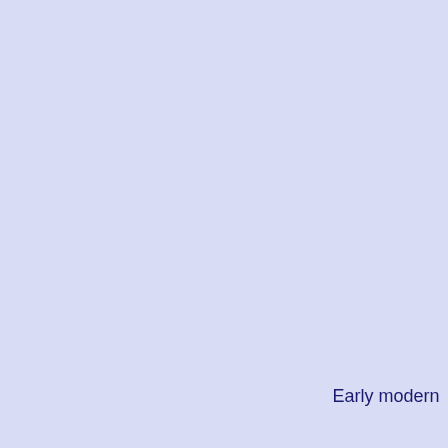Early modern
Descartes
Blaise Pascal
Baruch Spinoza
Nicolas Malebranche
Gottfried W Leibniz
William Wollaston
Thomas Chubb
David Hume
Baron d'Holbach
Immanuel Kant
Johann G Herder